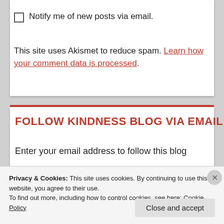Notify me of new posts via email.
This site uses Akismet to reduce spam. Learn how your comment data is processed.
FOLLOW KINDNESS BLOG VIA EMAIL
Enter your email address to follow this blog
Privacy & Cookies: This site uses cookies. By continuing to use this website, you agree to their use.
To find out more, including how to control cookies, see here: Cookie Policy
Close and accept